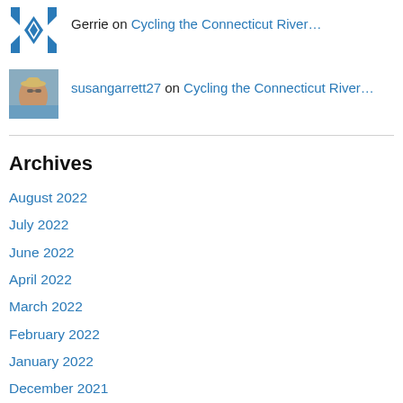Gerrie on Cycling the Connecticut River…
susangarrett27 on Cycling the Connecticut River…
Archives
August 2022
July 2022
June 2022
April 2022
March 2022
February 2022
January 2022
December 2021
November 2021
October 2021
September 2021